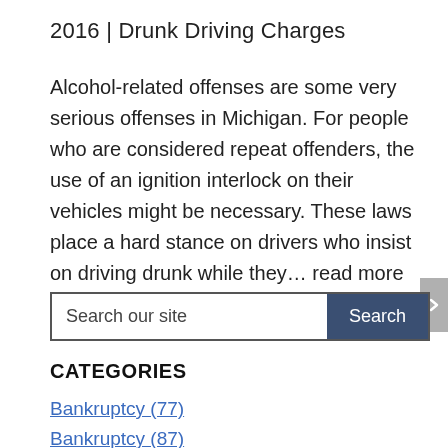2016 | Drunk Driving Charges
Alcohol-related offenses are some very serious offenses in Michigan. For people who are considered repeat offenders, the use of an ignition interlock on their vehicles might be necessary. These laws place a hard stance on drivers who insist on driving drunk while they... read more
CATEGORIES
Bankruptcy (77)
Bankruptcy (87)